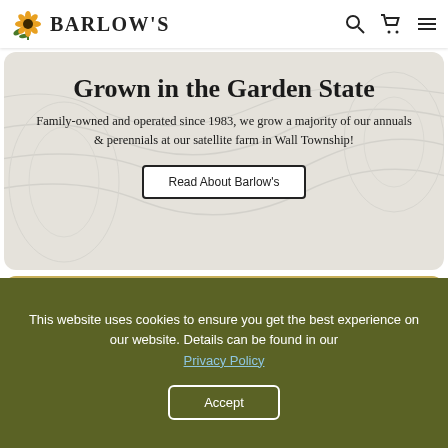Barlow's
Grown in the Garden State
Family-owned and operated since 1983, we grow a majority of our annuals & perennials at our satellite farm in Wall Township!
Read About Barlow's
[Figure (photo): Flower field with yellow and golden blooms, likely Black-eyed Susans or similar wildflowers growing densely]
This website uses cookies to ensure you get the best experience on our website. Details can be found in our Privacy Policy
Accept